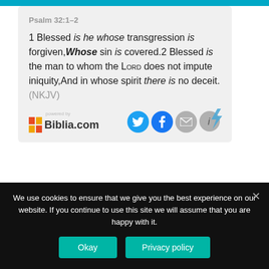Psalm 32:1–2
1 Blessed is he whose transgression is forgiven,Whose sin is covered.2 Blessed is the man to whom the LORD does not impute iniquity,And in whose spirit there is no deceit. (NKJV)
[Figure (logo): Biblia.com powered by logo with social icons (Twitter, Facebook, Email, Info)]
We use cookies to ensure that we give you the best experience on our website. If you continue to use this site we will assume that you are happy with it.